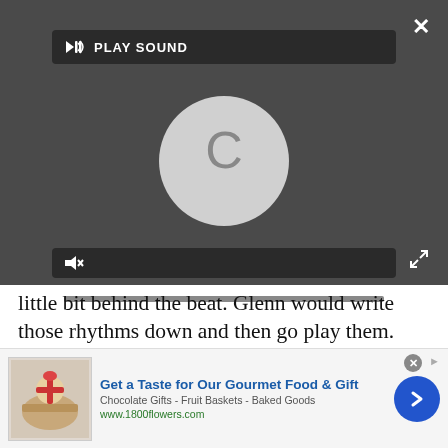[Figure (screenshot): Media player UI with dark background showing a 'PLAY SOUND' button bar at top, a circular loading/Chrome icon in center, a mute button bar, and a progress bar. Close (X) button top right, expand arrows bottom right.]
little bit behind the beat. Glenn would write those rhythms down and then go play them. And sometimes he would do it one drum at a time, because he’s good enough to do that. Another reason why the drums sound the way they do is that each drum was recorded very deliberately as its own instrument, as opposed to as a kit. A good place where you can hear that is the drum pattern at the end of ‘Before Us,’ which is basically a notated version of a distorted drum machine.”
[Figure (screenshot): Advertisement banner: '1800flowers.com' ad showing a gift basket image on the left, text 'Get a Taste for Our Gourmet Food & Gift', 'Chocolate Gifts - Fruit Baskets - Baked Goods', 'www.1800flowers.com', and a blue circular arrow button on the right.]